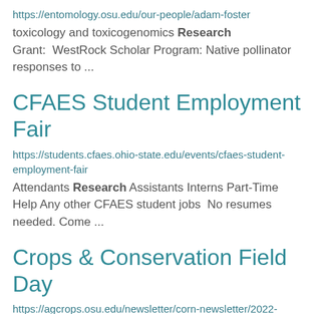https://entomology.osu.edu/our-people/adam-foster
toxicology and toxicogenomics Research Grant:  WestRock Scholar Program: Native pollinator responses to ...
CFAES Student Employment Fair
https://students.cfaes.ohio-state.edu/events/cfaes-student-employment-fair
Attendants Research Assistants Interns Part-Time Help Any other CFAES student jobs  No resumes needed. Come ...
Crops & Conservation Field Day
https://agcrops.osu.edu/newsletter/corn-newsletter/2022-27/crops-conservation-field-day